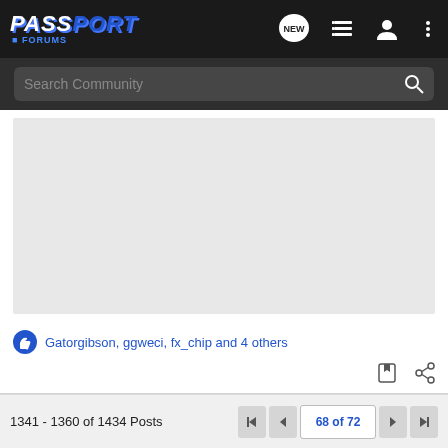[Figure (screenshot): Passport Forums navigation bar with logo, NEW button, list icon, user icon, and dots menu icon]
Search Community
[Figure (other): Grey content/image area placeholder]
Gatorgibson, ggweci, fx_chip and 4 others
1341 - 1360 of 1434 Posts
68 of 72